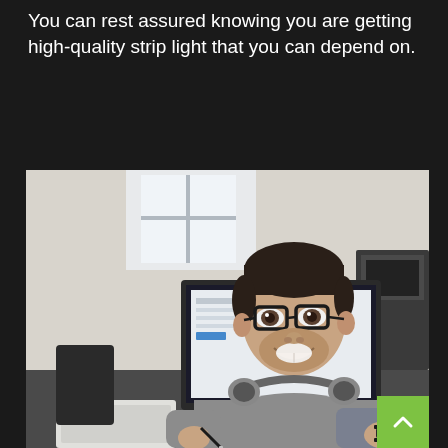You can rest assured knowing you are getting high-quality strip light that you can depend on.
[Figure (photo): A smiling man with glasses and headphones around his neck, wearing a grey sweater, sitting at a desk in an office. He is writing on a clipboard. A large computer monitor is visible to his left, and office furniture and plants are visible in the background. A green scroll-to-top button with an upward arrow is overlaid in the bottom-right corner.]